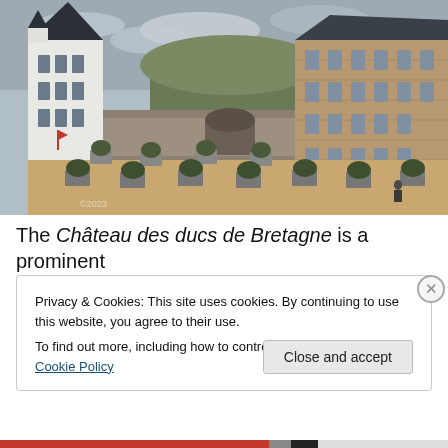[Figure (photo): Aerial/ground-level photograph of Château des ducs de Bretagne courtyard showing stone buildings, a white tower with dark conical roof on the left, a large stone building on the right, and potted trees arranged in the sandy courtyard]
The Château des ducs de Bretagne is a prominent
Privacy & Cookies: This site uses cookies. By continuing to use this website, you agree to their use.
To find out more, including how to control cookies, see here: Cookie Policy
Close and accept